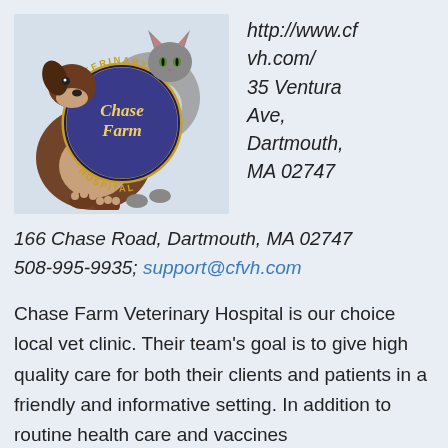[Figure (logo): Chase Farm Veterinary Hospital circular logo with a dog and cat illustration and text 'VETERINARY HOSPITAL' around a blue circle with 'Chase Farm' in gold lettering]
http://www.cfvh.com/ 35 Ventura Ave, Dartmouth, MA 02747
166 Chase Road, Dartmouth, MA 02747
508-995-9935; support@cfvh.com
Chase Farm Veterinary Hospital is our choice local vet clinic. Their team's goal is to give high quality care for both their clients and patients in a friendly and informative setting. In addition to routine health care and vaccines